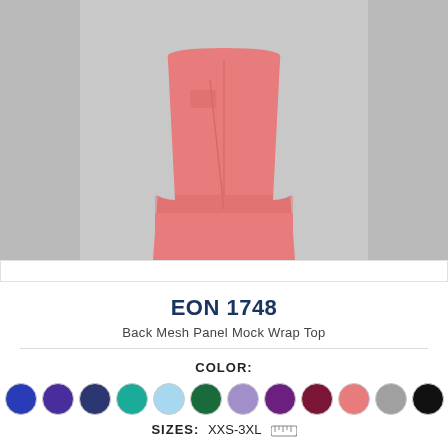[Figure (photo): Female model wearing a coral/salmon pink scrub top (Back Mesh Panel Mock Wrap Top) and matching scrub pants against a light grey background. The torso is shown from neck to thigh.]
EON 1748
Back Mesh Panel Mock Wrap Top
COLOR:
SIZES: XXS-3XL